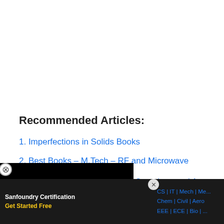Recommended Articles:
1. Imperfections in Solids Books
2. Best Books – M.Tech – RF and Microwave
Questions and Answers – Integrated Circuits
Questions and Answers –
Questions and Answers –
[Figure (screenshot): Black video player overlay in bottom-left with close button]
[Figure (screenshot): Sanfoundry Certification advertisement bar at bottom with categories: CS, IT, Mech, Mech, Chem, Civil, Aero, EEE, ECE, Bio and Get Started Free CTA]